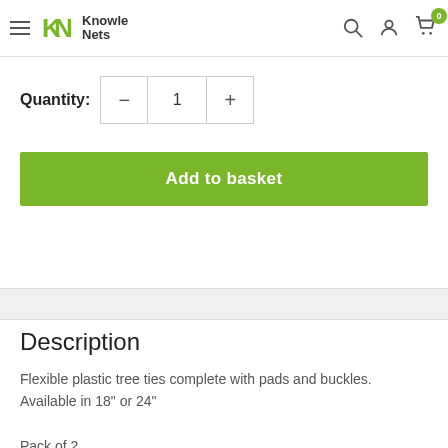Knowle Nets
Quantity: 1
Add to basket
Description
Flexible plastic tree ties complete with pads and buckles. Available in 18" or 24"

Pack of 2.